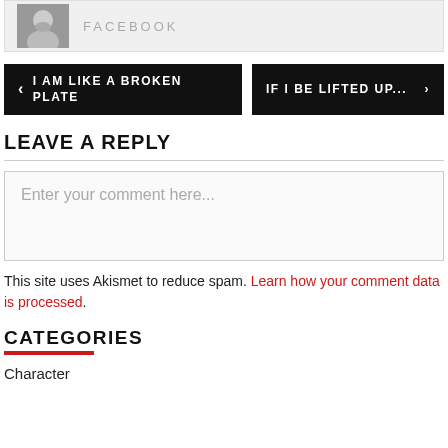[Figure (photo): Profile avatar photo of a person (bearded man), shown in a gray Facebook-style header bar with the word FACEBOOK in spaced caps]
‹ I AM LIKE A BROKEN PLATE
IF I BE LIFTED UP... ›
LEAVE A REPLY
Enter your comment here...
This site uses Akismet to reduce spam. Learn how your comment data is processed.
CATEGORIES
Character